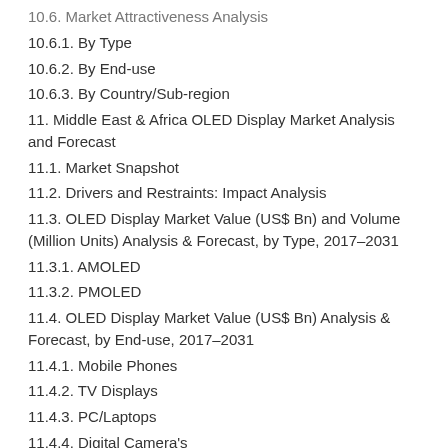10.6. Market Attractiveness Analysis
10.6.1. By Type
10.6.2. By End-use
10.6.3. By Country/Sub-region
11. Middle East & Africa OLED Display Market Analysis and Forecast
11.1. Market Snapshot
11.2. Drivers and Restraints: Impact Analysis
11.3. OLED Display Market Value (US$ Bn) and Volume (Million Units) Analysis & Forecast, by Type, 2017–2031
11.3.1. AMOLED
11.3.2. PMOLED
11.4. OLED Display Market Value (US$ Bn) Analysis & Forecast, by End-use, 2017–2031
11.4.1. Mobile Phones
11.4.2. TV Displays
11.4.3. PC/Laptops
11.4.4. Digital Camera's
11.4.5. Automotive